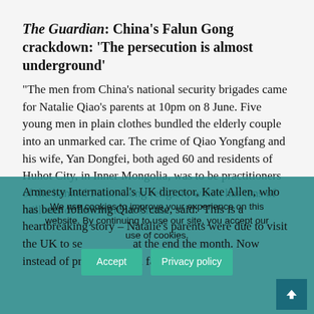The Guardian: China's Falun Gong crackdown: 'The persecution is almost underground'
“The men from China’s national security brigades came for Natalie Qiao’s parents at 10pm on 8 June. Five young men in plain clothes bundled the elderly couple into an unmarked car. The crime of Qiao Yongfang and his wife, Yan Dongfei, both aged 60 and residents of Huhot City, in Inner Mongolia, was to be practitioners of the banned Falun Gong religion, which has tens of millions of followers in China.
Amnesty International’s UK director, Kate Allen, who has been following Qiao’s case, said: ‘This is a heartbreaking story – Natalie’s parents were due to visit the UK to se g at the end the month. Now instead of preparing for a family
We use cookies to improve your experience on this website. By continuing to use our site, you accept our use of cookies.